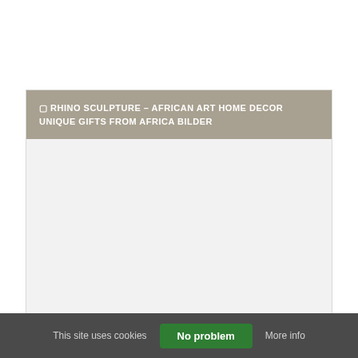☐ RHINO SCULPTURE – AFRICAN ART HOME DECOR UNIQUE GIFTS FROM AFRICA BILDER
This site uses cookies   No problem   More info